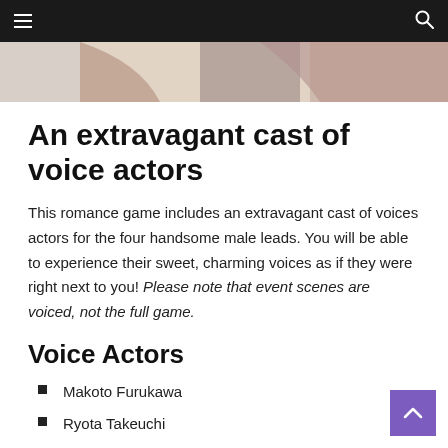Navigation header with hamburger menu and search icon
[Figure (illustration): Partial anime-style illustration showing characters at the top of the page]
An extravagant cast of voice actors
This romance game includes an extravagant cast of voices actors for the four handsome male leads. You will be able to experience their sweet, charming voices as if they were right next to you! Please note that event scenes are voiced, not the full game.
Voice Actors
Makoto Furukawa
Ryota Takeuchi